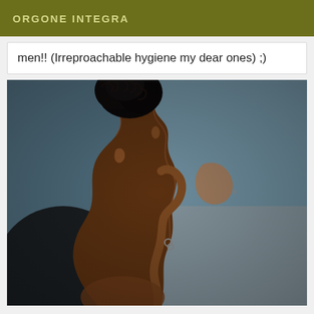ORGONE INTEGRA
men!! (Irreproachable hygiene my dear ones) ;)
[Figure (photo): Artistic rear-view photograph of a person with dark curly hair, side profile showing back and torso, blurred blue-grey background]